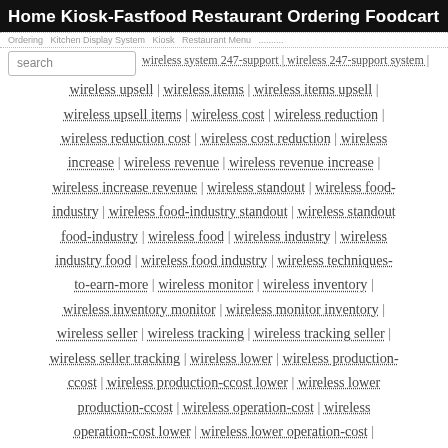Home  Kiosk-Fastfood  Restaurant Ordering  Foodcart
Ordering Kitchen Display System Kiosk Restaurant Menu...
wireless system 247-support | wireless 247-support system | wireless upsell | wireless items | wireless items upsell | wireless upsell items | wireless cost | wireless reduction | wireless reduction cost | wireless cost reduction | wireless increase | wireless revenue | wireless revenue increase | wireless increase revenue | wireless standout | wireless food-industry | wireless food-industry standout | wireless standout food-industry | wireless food | wireless industry | wireless industry food | wireless food industry | wireless techniques-to-earn-more | wireless monitor | wireless inventory | wireless inventory monitor | wireless monitor inventory | wireless seller | wireless tracking | wireless tracking seller | wireless seller tracking | wireless lower | wireless production-ccost | wireless production-ccost lower | wireless lower production-ccost | wireless operation-cost | wireless operation-cost lower | wireless lower operation-cost |